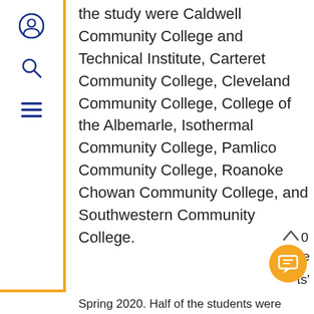[Figure (screenshot): Website sidebar with user/search/menu icons, orange border]
the study were Caldwell Community College and Technical Institute, Carteret Community College, Cleveland Community College, College of the Albemarle, Isothermal Community College, Pamlico Community College, Roanoke Chowan Community College, and Southwestern Community College.
[Figure (screenshot): Chatbot popup with header 'May I help you?' and message 'Hi there! I'm a chatbot here to answer your questions. What would you like to know?']
Spring 2020. Half of the students were